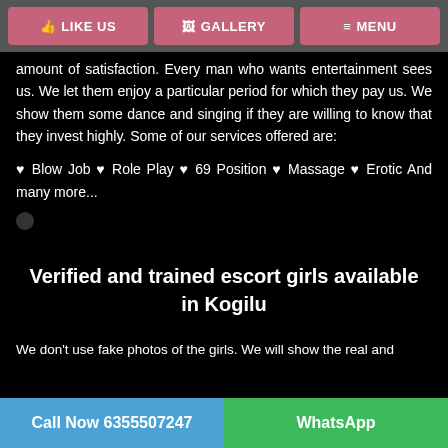LIKE US   GALLERY   MENU
amount of satisfaction. Every man who wants entertainment sees us. We let them enjoy a particular period for which they pay us. We show them some dance and singing if they are willing to know that they invest highly. Some of our services offered are:
♥ Blow Job ♥ Role Play ♥ 69 Position ♥ Massage ♥ Erotic And many more...
Verified and trained escort girls available in Kogilu
We don't use fake photos of the girls. We will show the real and
Call Now 6355507247   WhatsApp